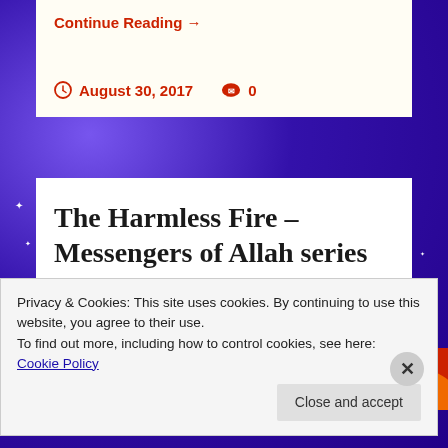Continue Reading →
August 30, 2017   0
The Harmless Fire – Messengers of Allah series
[Figure (photo): Orange and yellow fire flames image strip]
Privacy & Cookies: This site uses cookies. By continuing to use this website, you agree to their use.
To find out more, including how to control cookies, see here: Cookie Policy
Close and accept